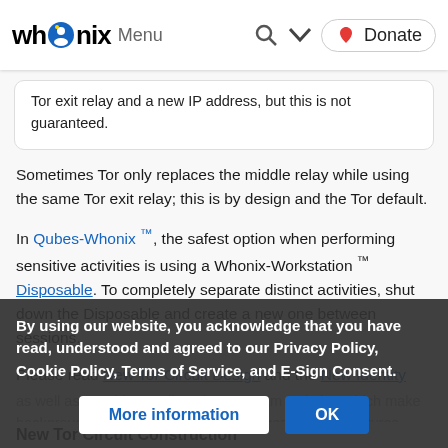whonix Menu [search] [chevron] [heart] Donate
Tor exit relay and a new IP address, but this is not guaranteed.
Sometimes Tor only replaces the middle relay while using the same Tor exit relay; this is by design and the Tor default.
In Qubes-Whonix ™, the safest option when performing sensitive activities is using a Whonix-Workstation ™ Disposable. To completely separate distinct activities, shut down the Disposable and create a new one between sessions.
Please read New Tor Circuit Design and the New Identity ... as well as consider reading about Stream Isolation which make background information and even stronger isolation features.
By using our website, you acknowledge that you have read, understood and agreed to our Privacy Policy, Cookie Policy, Terms of Service, and E-Sign Consent.
New Tor Circuit Construction